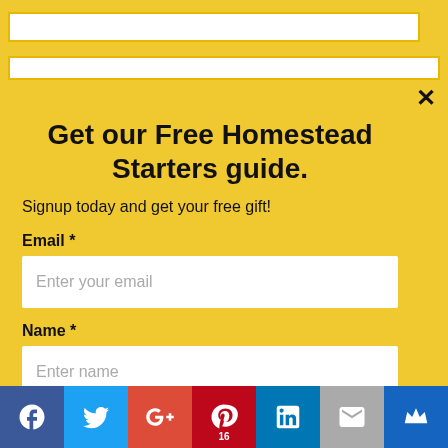Get our Free Homestead Starters guide.
Signup today and get your free gift!
Email *
Enter your email
Name *
Enter name
Subscribe